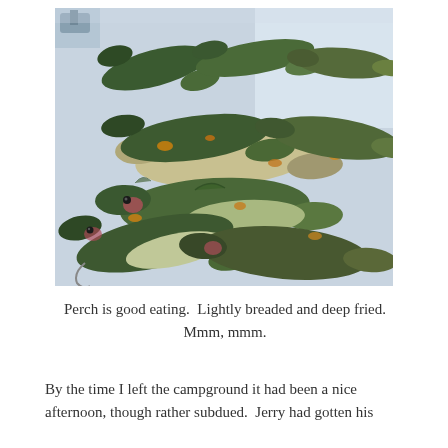[Figure (photo): A large pile of fresh perch fish laid out on a white surface, showing their green and gold coloring with pinkish-red gills and fins visible.]
Perch is good eating.  Lightly breaded and deep fried.  Mmm, mmm.
By the time I left the campground it had been a nice afternoon, though rather subdued.  Jerry had gotten his